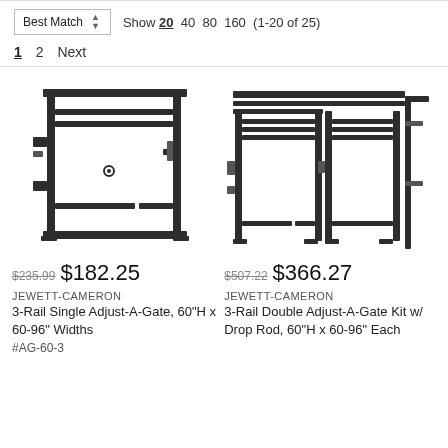Best Match  Show 20 40 80 160 (1-20 of 25)
1 2 Next
[Figure (photo): 3-Rail Single Adjust-A-Gate product photo showing a single gate frame with rails and hardware]
[Figure (photo): 3-Rail Double Adjust-A-Gate Kit with Drop Rod product photo showing a double gate frame with multiple rails and drop rod hardware]
$235.99 $182.25
$507.22 $366.27
JEWETT-CAMERON
3-Rail Single Adjust-A-Gate, 60"H x 60-96" Widths
#AG-60-3
JEWETT-CAMERON
3-Rail Double Adjust-A-Gate Kit w/ Drop Rod, 60"H x 60-96" Each